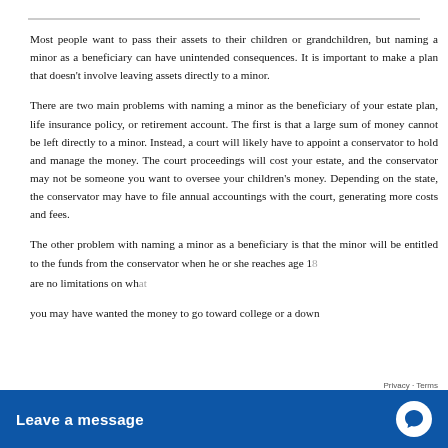Most people want to pass their assets to their children or grandchildren, but naming a minor as a beneficiary can have unintended consequences. It is important to make a plan that doesn't involve leaving assets directly to a minor.
There are two main problems with naming a minor as the beneficiary of your estate plan, life insurance policy, or retirement account. The first is that a large sum of money cannot be left directly to a minor. Instead, a court will likely have to appoint a conservator to hold and manage the money. The court proceedings will cost your estate, and the conservator may not be someone you want to oversee your children's money. Depending on the state, the conservator may have to file annual accountings with the court, generating more costs and fees.
The other problem with naming a minor as a beneficiary is that the minor will be entitled to the funds from the conservator when he or she reaches age 1[8]... are no limitations on wh[at]... you may have wanted the money to go toward college or a down